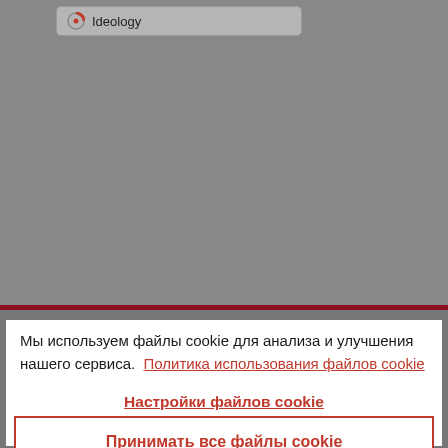[Figure (screenshot): Browser screenshot showing a tab labeled 'Ideology' with a grey background content area]
Мы используем файлы cookie для анализа и улучшения нашего сервиса. Политика использования файлов cookie
Настройки файлов cookie
Принимать все файлы cookie